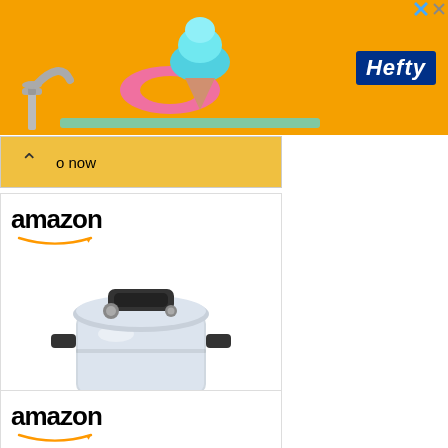[Figure (screenshot): Hefty brand banner advertisement with orange background, toy figure on left, Hefty logo in blue box on right]
[Figure (screenshot): Partially collapsed Amazon advertisement bar showing up arrow and 'o now' text]
[Figure (screenshot): Amazon advertisement card for All American 1930 - 21.5qt pressure canner, price $419.95, with Prime badge and Shop now button]
[Figure (screenshot): Second Amazon advertisement card showing amazon wordmark and partial view of a pressure cooker product]